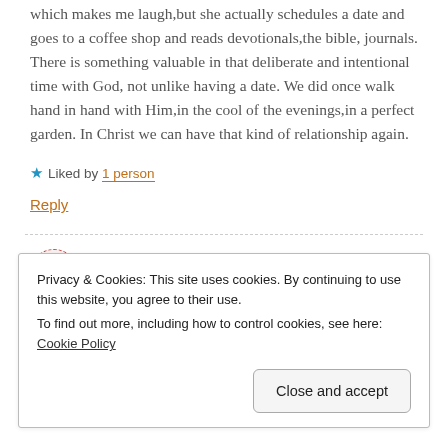which makes me laugh,but she actually schedules a date and goes to a coffee shop and reads devotionals,the bible, journals. There is something valuable in that deliberate and intentional time with God, not unlike having a date. We did once walk hand in hand with Him,in the cool of the evenings,in a perfect garden. In Christ we can have that kind of relationship again.
★ Liked by 1 person
Reply
my best prayers are the ones when I am working
Privacy & Cookies: This site uses cookies. By continuing to use this website, you agree to their use. To find out more, including how to control cookies, see here: Cookie Policy
Close and accept